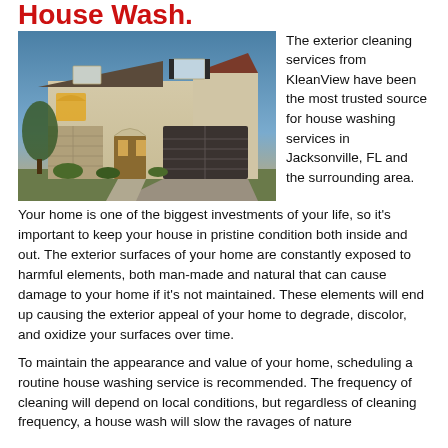House Wash.
[Figure (photo): Exterior photo of a two-story beige stucco house with stone accents, arched windows, and a three-car garage, photographed at dusk with warm interior lighting visible.]
The exterior cleaning services from KleanView have been the most trusted source for house washing services in Jacksonville, FL and the surrounding area. Your home is one of the biggest investments of your life, so it's important to keep your house in pristine condition both inside and out. The exterior surfaces of your home are constantly exposed to harmful elements, both man-made and natural that can cause damage to your home if it's not maintained. These elements will end up causing the exterior appeal of your home to degrade, discolor, and oxidize your surfaces over time.
To maintain the appearance and value of your home, scheduling a routine house washing service is recommended. The frequency of cleaning will depend on local conditions, but regardless of cleaning frequency, a house wash will slow the ravages of nature